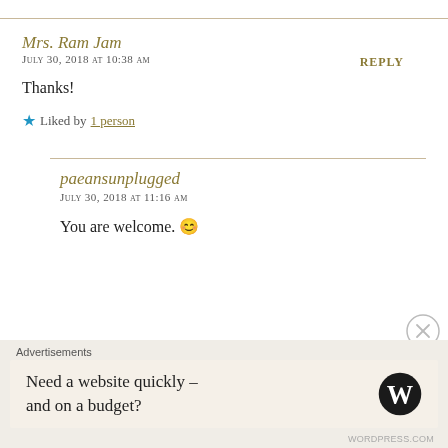Mrs. Ram Jam
July 30, 2018 at 10:38 am
REPLY
Thanks!
★ Liked by 1 person
paeansunplugged
July 30, 2018 at 11:16 am
You are welcome. 😊
Advertisements
Need a website quickly – and on a budget?